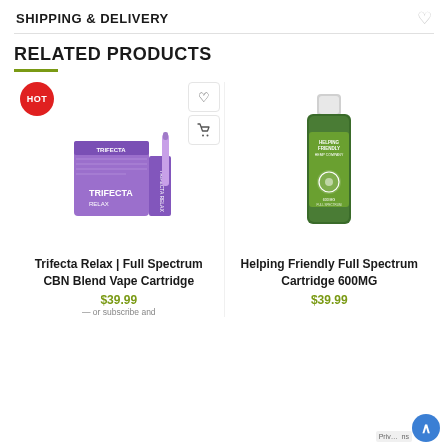SHIPPING & DELIVERY
RELATED PRODUCTS
[Figure (photo): Trifecta Relax Full Spectrum CBN Blend Vape Cartridge product image with HOT badge and action buttons (heart/wishlist and cart)]
Trifecta Relax | Full Spectrum CBN Blend Vape Cartridge
$39.99 — or subscribe and
[Figure (photo): Helping Friendly Full Spectrum Cartridge 600MG product image in green bottle]
Helping Friendly Full Spectrum Cartridge 600MG
$39.99